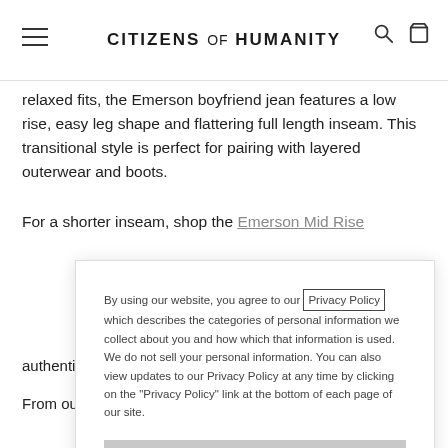CITIZENS of HUMANITY
relaxed fits, the Emerson boyfriend jean features a low rise, easy leg shape and flattering full length inseam. This transitional style is perfect for pairing with layered outerwear and boots.
For a shorter inseam, shop the Emerson Mid Rise
By using our website, you agree to our Privacy Policy which describes the categories of personal information we collect about you and how which that information is used. We do not sell your personal information. You can also view updates to our Privacy Policy at any time by clicking on the "Privacy Policy" link at the bottom of each page of our site.
I understand and accept the Privacy Policy
authentic vintage character
From our HUMANITY Collection